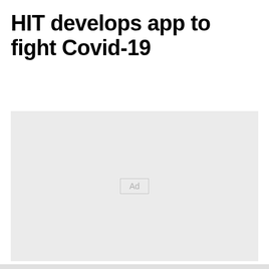HIT develops app to fight Covid-19
[Figure (other): Advertisement placeholder box with 'Ad' label centered on a light gray background]